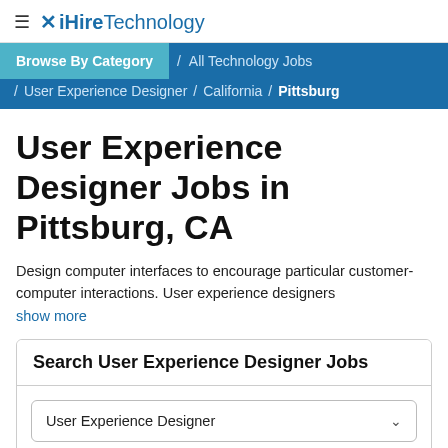≡ iHireTechnology
Browse By Category / All Technology Jobs / User Experience Designer / California / Pittsburg
User Experience Designer Jobs in Pittsburg, CA
Design computer interfaces to encourage particular customer-computer interactions. User experience designers show more
Search User Experience Designer Jobs
User Experience Designer
Pittsburg, CA